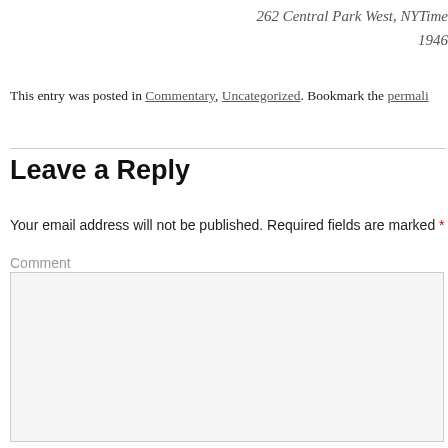262 Central Park West, NYTimes
1946
This entry was posted in Commentary, Uncategorized. Bookmark the permali...
Leave a Reply
Your email address will not be published. Required fields are marked *
Comment